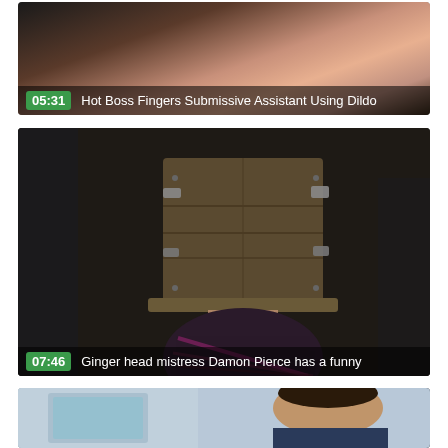[Figure (screenshot): Video thumbnail 1 with duration 05:31 and title 'Hot Boss Fingers Submissive Assistant Using Dildo']
[Figure (screenshot): Video thumbnail 2 with duration 07:46 and title 'Ginger head mistress Damon Pierce has a funny']
[Figure (screenshot): Video thumbnail 3, partially visible, showing a person]